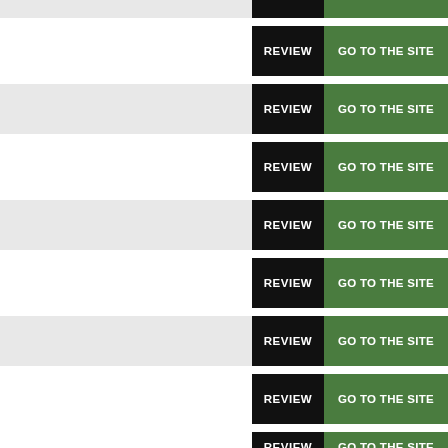[Figure (screenshot): List of casino/gambling site entries, each with a gray content area on the left and two buttons on the right: a black REVIEW button and a green GO TO THE SITE button. Nine rows are visible.]